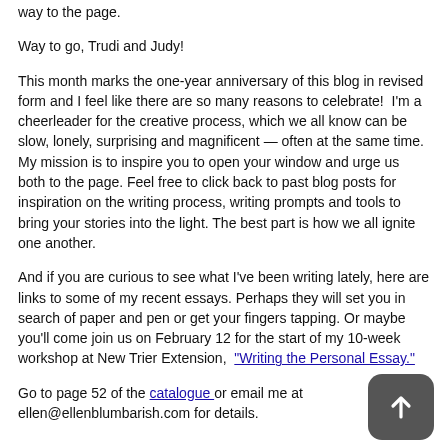way to the page.
Way to go, Trudi and Judy!
This month marks the one-year anniversary of this blog in revised form and I feel like there are so many reasons to celebrate!  I'm a cheerleader for the creative process, which we all know can be slow, lonely, surprising and magnificent — often at the same time. My mission is to inspire you to open your window and urge us both to the page. Feel free to click back to past blog posts for inspiration on the writing process, writing prompts and tools to bring your stories into the light. The best part is how we all ignite one another.
And if you are curious to see what I've been writing lately, here are links to some of my recent essays. Perhaps they will set you in search of paper and pen or get your fingers tapping. Or maybe you'll come join us on February 12 for the start of my 10-week workshop at New Trier Extension,  "Writing the Personal Essay."
Go to page 52 of the catalogue or email me at ellen@ellenblumbarish.com for details.